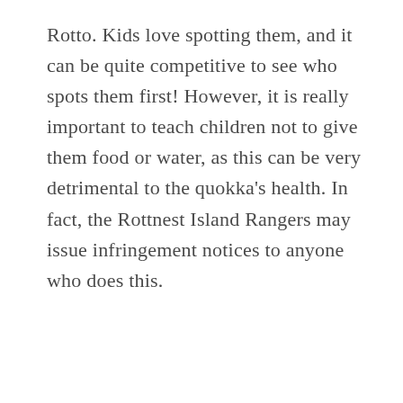Rotto. Kids love spotting them, and it can be quite competitive to see who spots them first! However, it is really important to teach children not to give them food or water, as this can be very detrimental to the quokka's health. In fact, the Rottnest Island Rangers may issue infringement notices to anyone who does this.